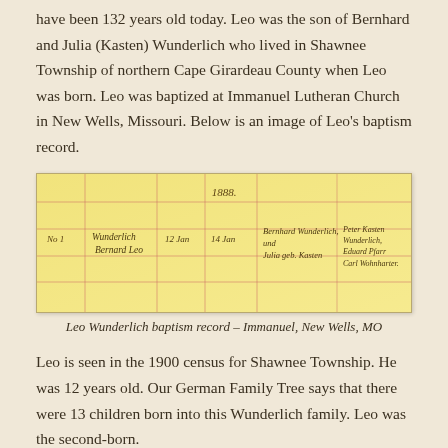have been 132 years old today. Leo was the son of Bernhard and Julia (Kasten) Wunderlich who lived in Shawnee Township of northern Cape Girardeau County when Leo was born. Leo was baptized at Immanuel Lutheran Church in New Wells, Missouri. Below is an image of Leo's baptism record.
[Figure (photo): Handwritten baptism record entry for Leo Wunderlich from Immanuel Lutheran Church, New Wells, MO. The record shows a faded yellow ledger page with red ruled lines and handwritten cursive script reading approximately: 1888, Wunderlich Bernard Leo, 12 Jan, 14 Jan, Bernhard Wunderlich und Julia geb. Kasten, Peter Kasten, Wunderlich, Pfarr Kasten, Eduard, Carl Wohnharter.]
Leo Wunderlich baptism record – Immanuel, New Wells, MO
Leo is seen in the 1900 census for Shawnee Township. He was 12 years old. Our German Family Tree says that there were 13 children born into this Wunderlich family. Leo was the second-born.